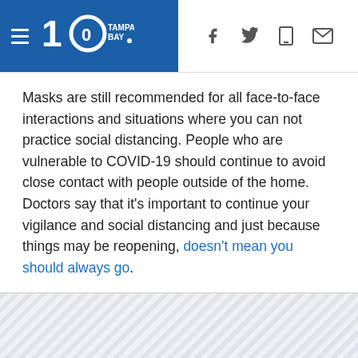10 Tampa Bay — navigation header with hamburger menu, logo, and social icons (Facebook, Twitter, mobile, email)
Masks are still recommended for all face-to-face interactions and situations where you can not practice social distancing. People who are vulnerable to COVID-19 should continue to avoid close contact with people outside of the home. Doctors say that it's important to continue your vigilance and social distancing and just because things may be reopening, doesn't mean you should always go.
[Figure (other): Advertisement placeholder block with diagonal hatching pattern]
Phase one of Florida's reopening plan included the Tampa Bay area, but not Miami-Dade, Broward and Palm Beach counties at first. On Thursday, DeSantis said those counties